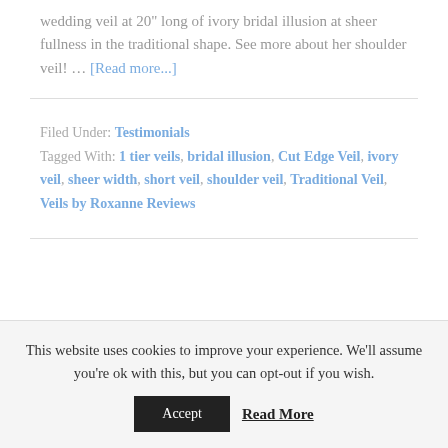wedding veil at 20" long of ivory bridal illusion at sheer fullness in the traditional shape. See more about her shoulder veil! … [Read more...]
Filed Under: Testimonials
Tagged With: 1 tier veils, bridal illusion, Cut Edge Veil, ivory veil, sheer width, short veil, shoulder veil, Traditional Veil, Veils by Roxanne Reviews
This website uses cookies to improve your experience. We'll assume you're ok with this, but you can opt-out if you wish. Accept Read More